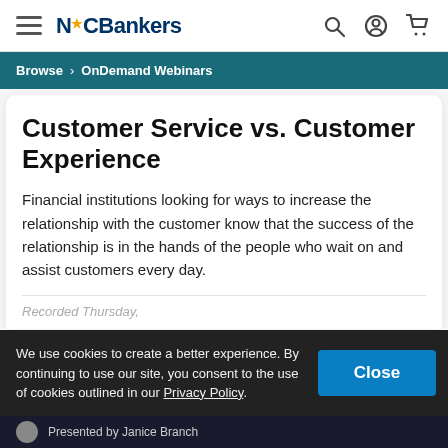NCBankers
Browse › OnDemand Webinars
Customer Service vs. Customer Experience
Financial institutions looking for ways to increase the relationship with the customer know that the success of the relationship is in the hands of the people who wait on and assist customers every day.
We use cookies to create a better experience. By continuing to use our site, you consent to the use of cookies outlined in our Privacy Policy.
Close
Presented by Janice Branch